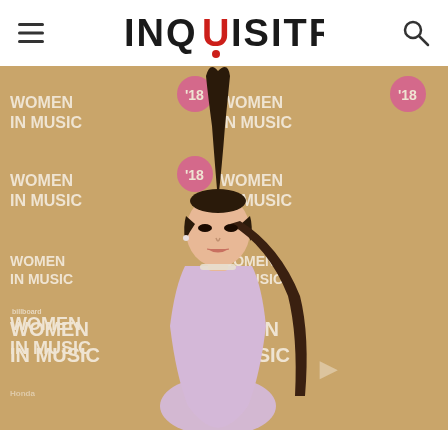INQUISITR
[Figure (photo): Ariana Grande posing at the Billboard Women in Music 2018 event, wearing a lavender strapless dress with a sparkly choker necklace, her signature high ponytail, in front of a gold Billboard Women in Music step-and-repeat backdrop.]